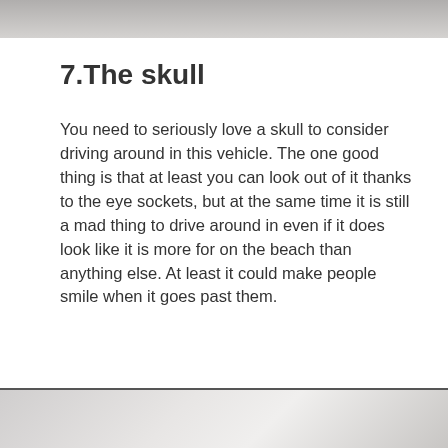[Figure (photo): Top portion of a photo showing a gray textured surface, partially visible at the top of the page]
7.The skull
You need to seriously love a skull to consider driving around in this vehicle. The one good thing is that at least you can look out of it thanks to the eye sockets, but at the same time it is still a mad thing to drive around in even if it does look like it is more for on the beach than anything else. At least it could make people smile when it goes past them.
[Figure (photo): Bottom portion of another photo showing a light gray/white surface, partially visible at the bottom of the page]